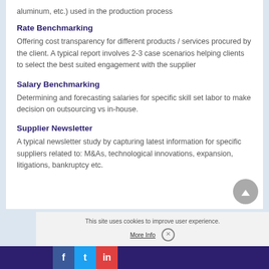aluminum, etc.) used in the production process
Rate Benchmarking
Offering cost transparency for different products / services procured by the client. A typical report involves 2-3 case scenarios helping clients to select the best suited engagement with the supplier
Salary Benchmarking
Determining and forecasting salaries for specific skill set labor to make decision on outsourcing vs in-house.
Supplier Newsletter
A typical newsletter study by capturing latest information for specific suppliers related to: M&As, technological innovations, expansion, litigations, bankruptcy etc.
This site uses cookies to improve user experience.
More Info